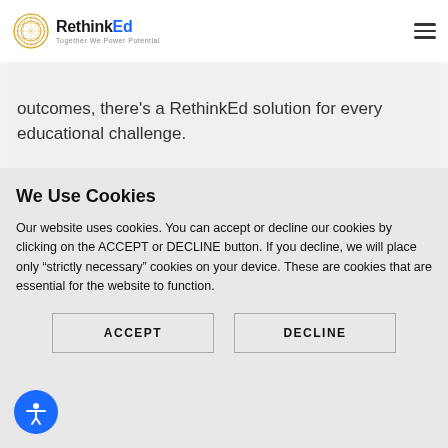[Figure (logo): RethinkEd logo with circular golden/orange geometric icon and text 'RethinkEd Together We Power Potential']
outcomes, there's a RethinkEd solution for every educational challenge.
We Use Cookies
Our website uses cookies. You can accept or decline our cookies by clicking on the ACCEPT or DECLINE button. If you decline, we will place only “strictly necessary” cookies on your device. These are cookies that are essential for the website to function.
[Figure (other): ACCEPT button]
[Figure (other): DECLINE button]
[Figure (other): Accessibility icon button (blue circle with person icon)]